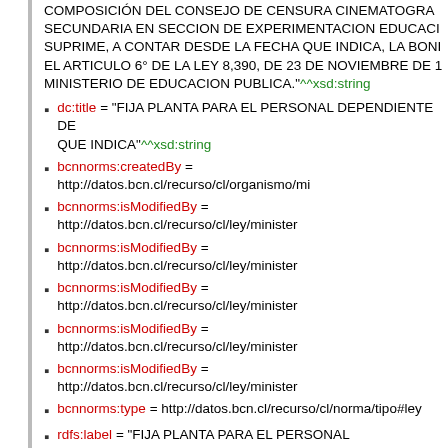COMPOSICION DEL CONSEJO DE CENSURA CINEMATOGRAFICA; SECUNDARIA EN SECCION DE EXPERIMENTACION EDUCACI... SUPRIME, A CONTAR DESDE LA FECHA QUE INDICA, LA BONI... EL ARTICULO 6° DE LA LEY 8,390, DE 23 DE NOVIEMBRE DE 1... MINISTERIO DE EDUCACION PUBLICA."^^xsd:string
dc:title = "FIJA PLANTA PARA EL PERSONAL DEPENDIENTE DE... QUE INDICA"^^xsd:string
bcnnorms:createdBy = http://datos.bcn.cl/recurso/cl/organismo/mi...
bcnnorms:isModifiedBy = http://datos.bcn.cl/recurso/cl/ley/minister...
bcnnorms:isModifiedBy = http://datos.bcn.cl/recurso/cl/ley/minister...
bcnnorms:isModifiedBy = http://datos.bcn.cl/recurso/cl/ley/minister...
bcnnorms:isModifiedBy = http://datos.bcn.cl/recurso/cl/ley/minister...
bcnnorms:isModifiedBy = http://datos.bcn.cl/recurso/cl/ley/minister...
bcnnorms:isModifiedBy = http://datos.bcn.cl/recurso/cl/ley/minister...
bcnnorms:type = http://datos.bcn.cl/recurso/cl/norma/tipo#ley
rdfs:label = "FIJA PLANTA PARA EL PERSONAL DEPENDIENTE... QUINQUENIOS, EL QUE GOZARA DEL SUELDO BASE ANUAL G... DERECHO A REMUNERACION HASTA 12 HORAS SEMANALES... SERVIR HASTA 36 HORAS SEMANALES; ESTABLECE LA COM... EN ESTA LEY CON LAS DE LOS ESTABLECIMIENTOS NOCTUR... DESEMPEÑAR FUNCIONES DOCENTES EN LOS ESTABLECIM... OTORGA A LAS ESCUELAS PARTICULARES GRATUITAS DE LA... LA PLANTA PERMANENTE DEL MINISTERIO DE EDUCACION P... ESTE MINISTERIO LA SECCION BIENESTAR SOCIAL, EL INSTR... COMPOSICION DEL CONSEJO DE CENSURA CINEMATOGRAF... SECUNDARIA EN SECCION DE EXPERIMENTACION EDUCACI...